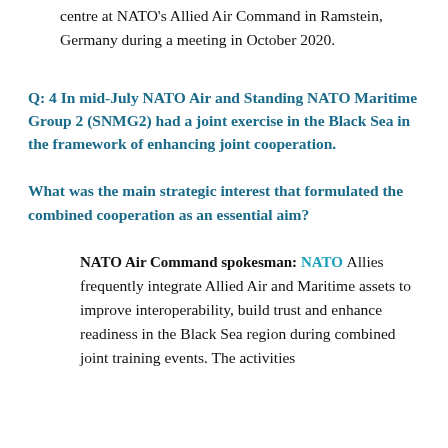centre at NATO's Allied Air Command in Ramstein, Germany during a meeting in October 2020.
Q: 4 In mid-July NATO Air and Standing NATO Maritime Group 2 (SNMG2) had a joint exercise in the Black Sea in the framework of enhancing joint cooperation.
What was the main strategic interest that formulated the combined cooperation as an essential aim?
NATO Air Command spokesman: NATO Allies frequently integrate Allied Air and Maritime assets to improve interoperability, build trust and enhance readiness in the Black Sea region during combined joint training events. The activities...